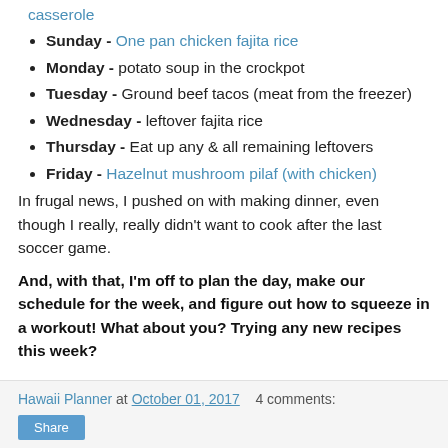casserole (link)
Sunday - One pan chicken fajita rice
Monday - potato soup in the crockpot
Tuesday - Ground beef tacos (meat from the freezer)
Wednesday - leftover fajita rice
Thursday - Eat up any & all remaining leftovers
Friday - Hazelnut mushroom pilaf (with chicken)
In frugal news, I pushed on with making dinner, even though I really, really didn't want to cook after the last soccer game.
And, with that, I'm off to plan the day, make our schedule for the week, and figure out how to squeeze in a workout! What about you? Trying any new recipes this week?
Hawaii Planner at October 01, 2017   4 comments:  Share